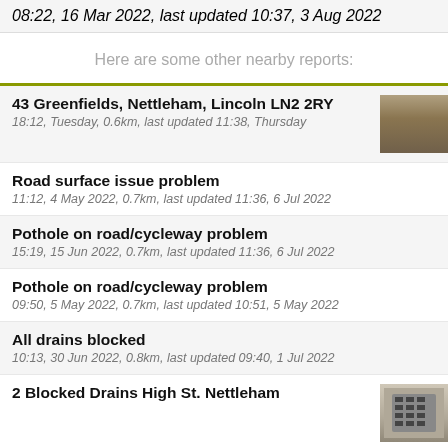08:22, 16 Mar 2022, last updated 10:37, 3 Aug 2022
Here are some other nearby reports:
43 Greenfields, Nettleham, Lincoln LN2 2RY
18:12, Tuesday, 0.6km, last updated 11:38, Thursday
Road surface issue problem
11:12, 4 May 2022, 0.7km, last updated 11:36, 6 Jul 2022
Pothole on road/cycleway problem
15:19, 15 Jun 2022, 0.7km, last updated 11:36, 6 Jul 2022
Pothole on road/cycleway problem
09:50, 5 May 2022, 0.7km, last updated 10:51, 5 May 2022
All drains blocked
10:13, 30 Jun 2022, 0.8km, last updated 09:40, 1 Jul 2022
2 Blocked Drains High St. Nettleham